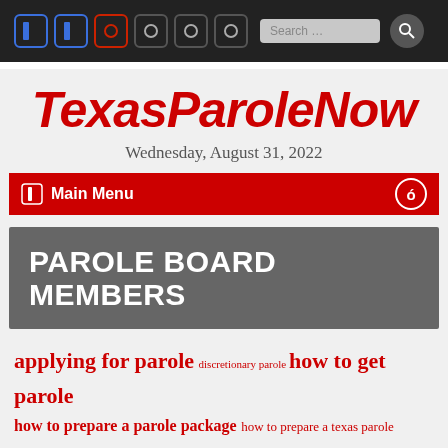Navigation bar with icons, search box
TexasParoleNow
Wednesday, August 31, 2022
Main Menu
PAROLE BOARD MEMBERS
applying for parole  discretionary parole  how to get parole  how to prepare a parole package  how to prepare a texas parole package  how to prepare a texas parole packet  how to write a support letter  increase chances of parole